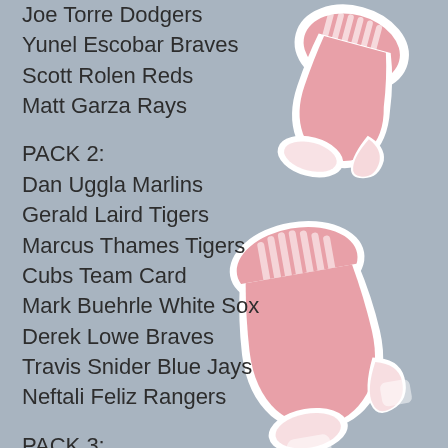Joe Torre Dodgers
Yunel Escobar Braves
Scott Rolen Reds
Matt Garza Rays
PACK 2:
Dan Uggla Marlins
Gerald Laird Tigers
Marcus Thames Tigers
Cubs Team Card
Mark Buehrle White Sox
Derek Lowe Braves
Travis Snider Blue Jays
Neftali Feliz Rangers
PACK 3:
Placido Polanco Phillies
Michael Young Rangers
Twins Team Card
Yankees CL
J.A. Happ Phillies
Mickey Mantle Yankees
[Figure (illustration): Pink Boston Red Sox socks logo illustration on grey background — two pink socks with white toe patches and ribbed cuffs, one at top right and one in the center-right area]